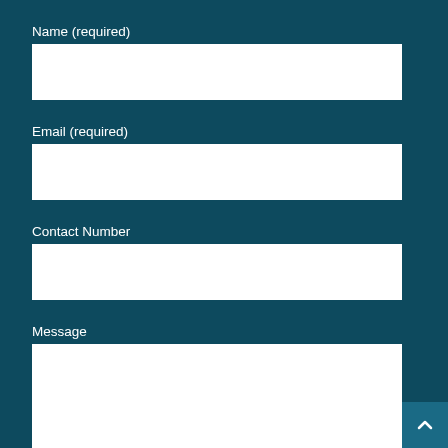Name (required)
[Figure (other): Empty text input field for Name]
Email (required)
[Figure (other): Empty text input field for Email]
Contact Number
[Figure (other): Empty text input field for Contact Number]
Message
[Figure (other): Empty textarea input field for Message]
[Figure (other): Back to top button with chevron up arrow]